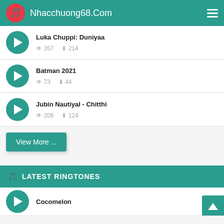Nhacchuong68.Com
Luka Chuppi: Duniyaa — views: 357, downloads: 214
Batman 2021 — views: 73, downloads: 44
Jubin Nautiyal - Chitthi — views: 206, downloads: 124
View More ...
LATEST RINGTONES
Cocomelon